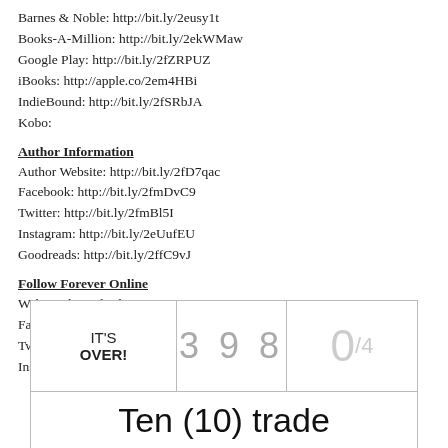Barnes & Noble: http://bit.ly/2eusy1t
Books-A-Million: http://bit.ly/2ekWMaw
Google Play: http://bit.ly/2fZRPUZ
iBooks: http://apple.co/2em4HBi
IndieBound: http://bit.ly/2fSRbJA
Kobo:
Author Information
Author Website: http://bit.ly/2fD7qac
Facebook: http://bit.ly/2fmDvC9
Twitter: http://bit.ly/2fmBl5I
Instagram: http://bit.ly/2eUufEU
Goodreads: http://bit.ly/2ffC9vJ
Follow Forever Online
Website: http://bit.ly/1W6ZY8C
Facebook: http://bit.ly/1Zmyycz
Twitter: http://bit.ly/2aF6B0X
Instagram: http://bit.ly/1Xco7tE
IT'S OVER! 398 0/4
Ten (10) trade paperbacks of SPLIT